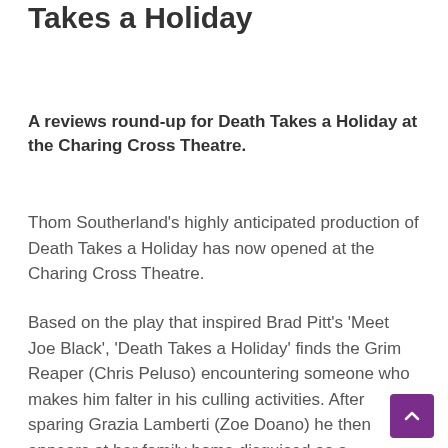Takes a Holiday
A reviews round-up for Death Takes a Holiday at the Charing Cross Theatre.
Thom Southerland's highly anticipated production of Death Takes a Holiday has now opened at the Charing Cross Theatre.
Based on the play that inspired Brad Pitt's 'Meet Joe Black', 'Death Takes a Holiday' finds the Grim Reaper (Chris Peluso) encountering someone who makes him falter in his culling activities. After sparing Grazia Lamberti (Zoe Doano) he then appears at her family home disguised as a